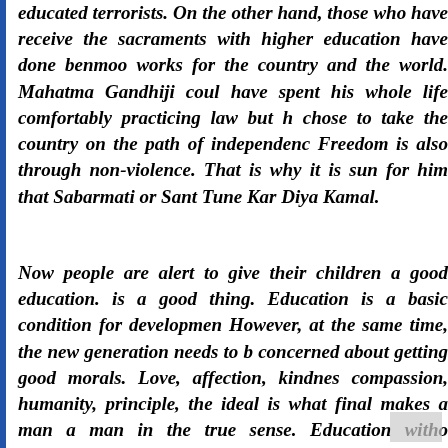educated terrorists. On the other hand, those who have received the sacraments with higher education have done benmoo works for the country and the world. Mahatma Gandhiji coul have spent his whole life comfortably practicing law but h chose to take the country on the path of independenc Freedom is also through non-violence. That is why it is sun for him that Sabarmati or Sant Tune Kar Diya Kamal.
Now people are alert to give their children a good education. is a good thing. Education is a basic condition for developmen However, at the same time, the new generation needs to b concerned about getting good morals. Love, affection, kindnes compassion, humanity, principle, the ideal is what final makes a man a man in the true sense. Education witho empathy leads to destruction. The reason why man today go astray, gets lost in life and takes steps not to pay and wastes h life is not due to lack of education but lack of values an sensibilities.